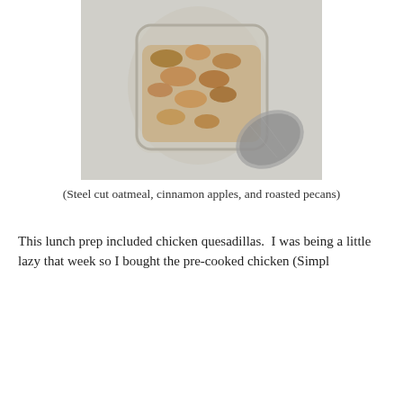[Figure (photo): A glass mason jar filled with steel cut oatmeal, cinnamon apples, and roasted pecans, with a metal screw-top lid, photographed from above on a light grey surface.]
(Steel cut oatmeal, cinnamon apples, and roasted pecans)
This lunch prep included chicken quesadillas.  I was being a little lazy that week so I bought the pre-cooked chicken (Simpl
Privacy & Cookies: This site uses cookies. By continuing to use this website, you agree to their use.
To find out more, including how to control cookies, see here: Cookie Policy
Close and accept